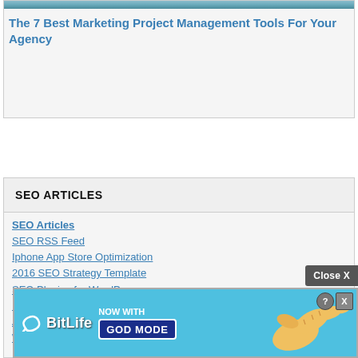The 7 Best Marketing Project Management Tools For Your Agency
SEO ARTICLES
SEO Articles
SEO RSS Feed
Iphone App Store Optimization
2016 SEO Strategy Template
SEO Plugins for WordPress
How to Get Whitehat Links
Advertising on Facebook
Website Speed and Search Rankings
How & Why to Use a Press Release Service
Keyword Volume Tools
Learn SEO
Why...
Imp...
[Figure (screenshot): BitLife advertisement banner with 'NOW WITH GOD MODE' text and pointing hand graphic]